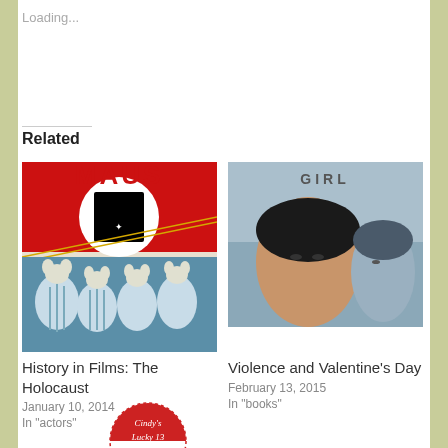Loading...
Related
[Figure (photo): Book cover of MAUS showing a Nazi cat with swastika and mouse prisoners in striped uniforms]
History in Films: The Holocaust
January 10, 2014
In "actors"
[Figure (photo): Movie poster showing GIRL with two faces in close-up]
Violence and Valentine's Day
February 13, 2015
In "books"
[Figure (photo): Circular badge/logo with text Cindy's Lucky 13]